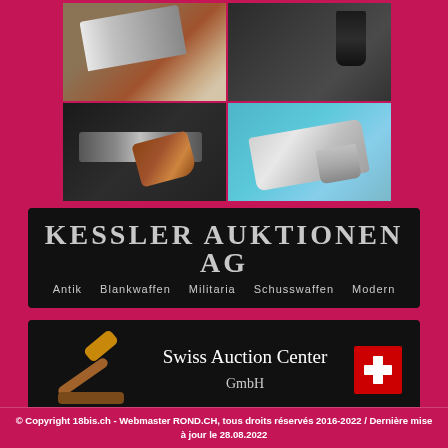[Figure (photo): Grid of four firearm photos: top-left shows a chrome pistol grip detail on wooden surface, top-right shows a black pistol magazine/grip, bottom-left shows a revolver with wooden grip on dark background, bottom-right shows a silver semi-automatic pistol on blue fabric]
[Figure (logo): Kessler Auktionen AG banner on black background with categories: Antik, Blankwaffen, Militaria, Schusswaffen, Modern]
[Figure (logo): Swiss Auction Center GmbH banner with gavel illustration and Swiss flag on black background]
© Copyright 18bis.ch - Webmaster ROND.CH, tous droits réservés 2016-2022 / Dernière mise à jour le 28.08.2022